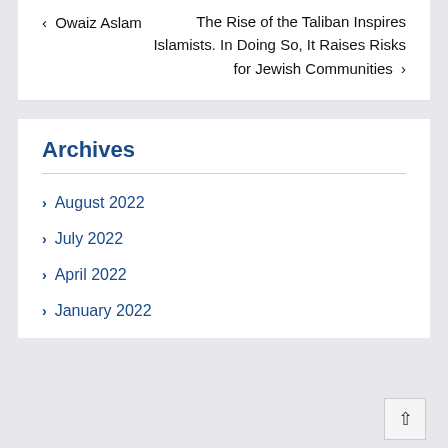‹ Owaiz Aslam
The Rise of the Taliban Inspires Islamists. In Doing So, It Raises Risks for Jewish Communities ›
Archives
August 2022
July 2022
April 2022
January 2022